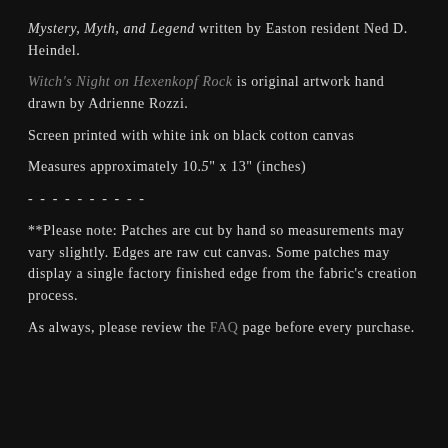Mystery, Myth, and Legend written by Easton resident Ned D. Heindel.
Witch's Night on Hexenkopf Rock is original artwork hand drawn by Adrienne Rozzi.
Screen printed with white ink on black cotton canvas
Measures approximately 10.5" x 13" (inches)
- - - - - - - - - -
**Please note: Patches are cut by hand so measurements may vary slightly. Edges are raw cut canvas. Some patches may display a single factory finished edge from the fabric's creation process.
As always, please review the FAQ page before every purchase.